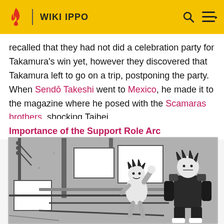WIKI IPPO
recalled that they had not did a celebration party for Takamura's win yet, however they discovered that Takamura left to go on a trip, postponing the party. When Sendō Takeshi went to Mexico, he made it to the magazine where he posed with the Scamaras brothers, shocking Taihei.
Importance of the Support Role Arc
[Figure (illustration): Black and white manga panel showing characters in a boxing gym or arena setting. A smaller character appears excited in the center, and a larger muscular character stands to the right. Stacked screens or panels are visible in the background.]